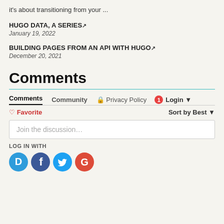it's about transitioning from your ...
HUGO DATA, A SERIES ↗
January 19, 2022
BUILDING PAGES FROM AN API WITH HUGO ↗
December 20, 2021
Comments
Comments  Community  🔒 Privacy Policy  1  Login
♡ Favorite  Sort by Best
Join the discussion…
LOG IN WITH
[Figure (infographic): Social login icons: Disqus (blue circle with D), Facebook (dark blue with f), Twitter (cyan with bird), Google (red with G)]